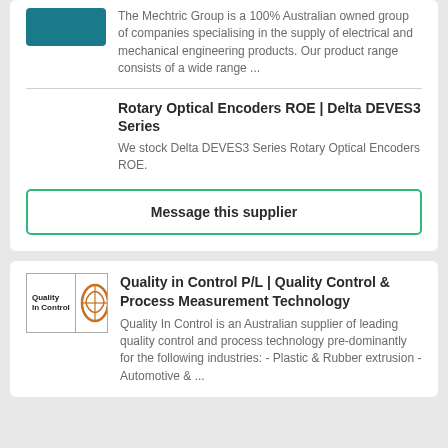[Figure (logo): Mechtric Group teal/blue logo button]
The Mechtric Group is a 100% Australian owned group of companies specialising in the supply of electrical and mechanical engineering products. Our product range consists of a wide range ...
Rotary Optical Encoders ROE | Delta DEVES3 Series
We stock Delta DEVES3 Series Rotary Optical Encoders ROE.
Message this supplier
[Figure (logo): Quality in Control P/L logo with QC text and circular symbol]
Quality in Control P/L | Quality Control & Process Measurement Technology
Quality In Control is an Australian supplier of leading quality control and process technology pre-dominantly for the following industries: - Plastic & Rubber extrusion - Automotive & ...